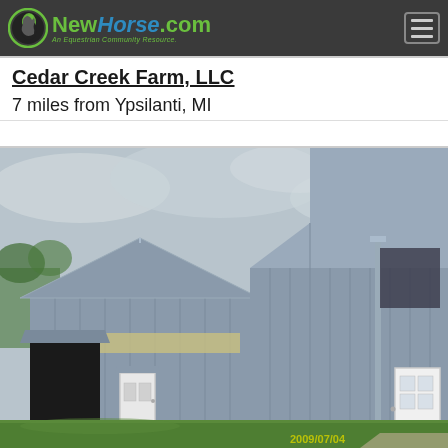NewHorse.com - An Equestrian Community Resource.
Cedar Creek Farm, LLC
7 miles from Ypsilanti, MI
[Figure (photo): Exterior photo of Cedar Creek Farm LLC showing gray metal barn buildings with white doors, green grass, and an overcast sky. Timestamp reads 2009/07/04.]